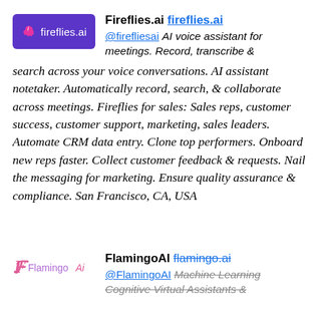[Figure (logo): Fireflies.ai logo: purple rounded rectangle with white flame/butterfly icon and 'fireflies.ai' text in white]
Fireflies.ai fireflies.ai
@firefliesai AI voice assistant for meetings. Record, transcribe & search across your voice conversations. AI assistant notetaker. Automatically record, search, & collaborate across meetings. Fireflies for sales: Sales reps, customer success, customer support, marketing, sales leaders. Automate CRM data entry. Clone top performers. Onboard new reps faster. Collect customer feedback & requests. Nail the messaging for marketing. Ensure quality assurance & compliance. San Francisco, CA, USA
[Figure (logo): Flamingo AI logo: stylized F icon in pink/purple with 'Flamingo Ai' text in purple]
FlamingoAI flamingo.ai
@FlamingoAI Machine Learning Cognitive Virtual Assistants &